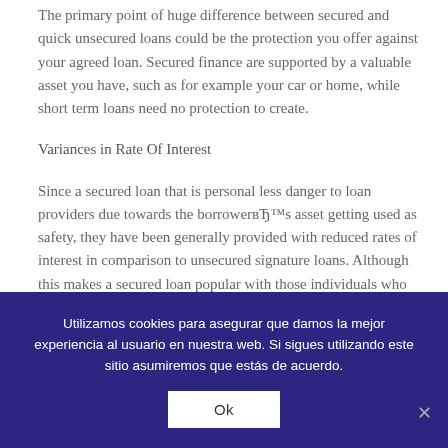The primary point of huge difference between secured and quick unsecured loans could be the protection you offer against your agreed loan. Secured finance are supported by a valuable asset you have, such as for example your car or home, while short term loans need no protection to create.
Variances in Rate Of Interest
Since a secured loan that is personal less danger to loan providers due towards the borrowerвЂ™s asset getting used as safety, they have been generally provided with reduced rates of interest in comparison to unsecured signature loans. Although this makes a secured loan popular with those individuals who have an automobile or household which you can use given that safety, the unsecured variation has got the benefits of being available to those that might not have high-value assets but
Utilizamos cookies para asegurar que damos la mejor experiencia al usuario en nuestra web. Si sigues utilizando este sitio asumiremos que estás de acuerdo.